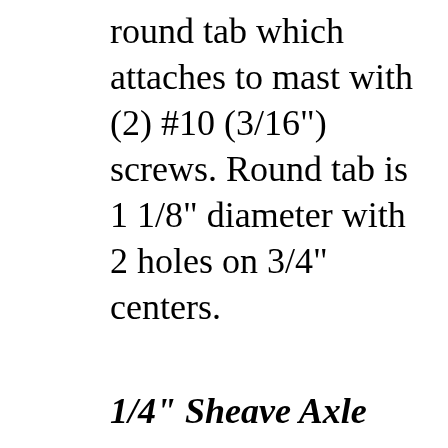round tab which attaches to mast with (2) #10 (3/16") screws. Round tab is 1 1/8" diameter with 2 holes on 3/4" centers.
1/4" Sheave Axle